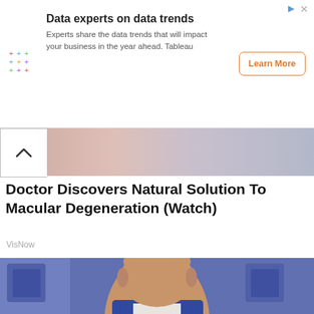[Figure (other): Advertisement banner: Tableau ad with colorful plus-sign logo, text 'Data experts on data trends', subtext 'Experts share the data trends that will impact your business in the year ahead. Tableau', and an orange-bordered 'Learn More' button.]
[Figure (other): Partial image strip showing a close-up blurred background, partially hidden by a chevron/collapse tab on the left.]
Doctor Discovers Natural Solution To Macular Degeneration (Watch)
VisNow
[Figure (photo): Photo of a bald man with a grey mustache wearing a blue suit and white shirt, seated against a blue geometric background. Resembles a TV personality in a studio setting.]